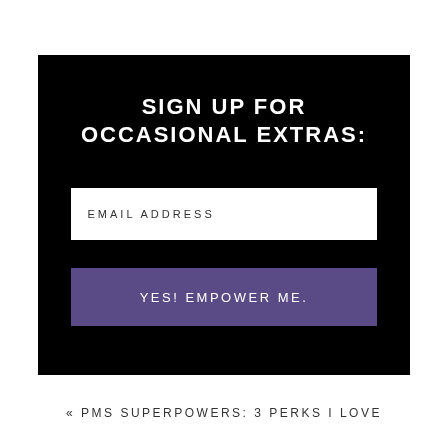SIGN UP FOR OCCASIONAL EXTRAS:
EMAIL ADDRESS
YES! EMPOWER ME.
« PMS SUPERPOWERS: 3 PERKS I LOVE